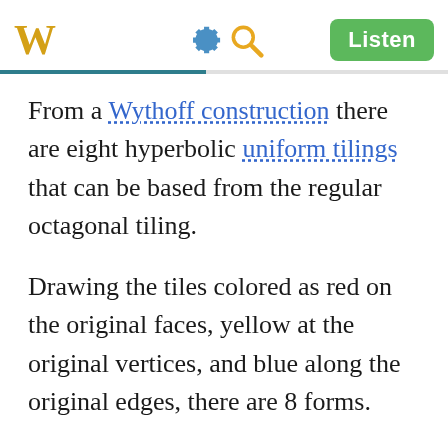W [gear icon] [search icon] Listen
From a Wythoff construction there are eight hyperbolic uniform tilings that can be based from the regular octagonal tiling.
Drawing the tiles colored as red on the original faces, yellow at the original vertices, and blue along the original edges, there are 8 forms.
It can also be generated from the (4 3 3)